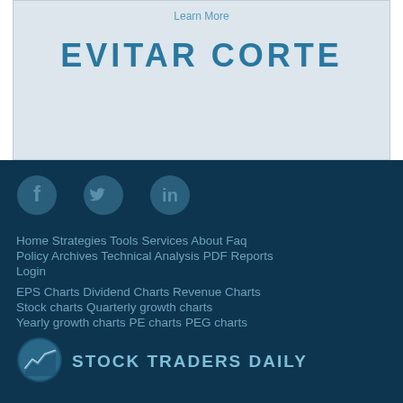Learn More
EVITAR CORTE
[Figure (logo): Facebook circle icon]
[Figure (logo): Twitter circle icon]
[Figure (logo): LinkedIn circle icon]
Home   Strategies   Tools   Services   About   Faq
Policy   Archives   Technical Analysis   PDF Reports
Login
EPS Charts   Dividend Charts   Revenue Charts
Stock charts   Quarterly growth charts
Yearly growth charts   PE charts   PEG charts
[Figure (logo): Stock Traders Daily circular logo with financial chart graphic]
STOCK TRADERS DAILY